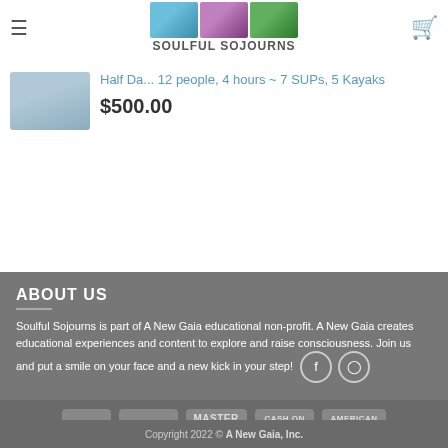$850.00
[Figure (logo): Soulful Sojourns logo with three images and text]
Half Day ... 12 people, 4 hours ~ 7 SUPs, 5 Kayaks
$500.00
ABOUT US
Soulful Sojourns is part of A New Gaia educational non-profit. A New Gaia creates educational experiences and content to explore and raise consciousness. Join us and put a smile on your face and a new kick in your step!
[Figure (infographic): Payment method icons: VISA, stripe, MasterCard, CASH ON DELIVERY, American Express]
Copyright 2022 © A New Gaia, Inc.